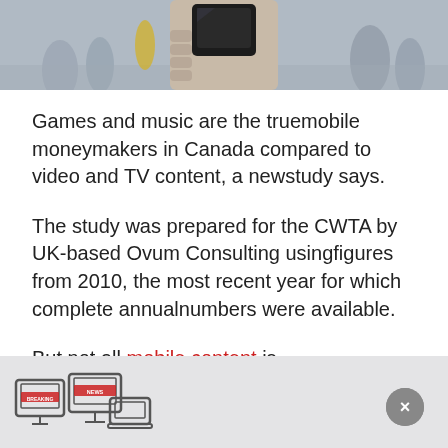[Figure (photo): Person holding a smartphone/camera, blurred street background with pedestrians]
Games and music are the truemobile moneymakers in Canada compared to video and TV content, a newstudy says.
The study was prepared for the CWTA by UK-based Ovum Consulting usingfigures from 2010, the most recent year for which complete annualnumbers were available.
But not all mobile content is generatingrevenue at the same rate.
[Figure (illustration): News/media device icons: TV, monitor, and laptop with breaking news banner]